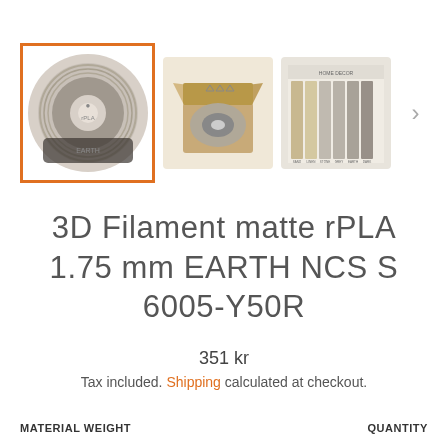[Figure (photo): Three product images: a spool of matte rPLA filament (selected, highlighted in orange border), an open cardboard box with filament spool inside, and a color swatch strip showing multiple filament colors. A right navigation arrow is visible.]
3D Filament matte rPLA 1.75 mm EARTH NCS S 6005-Y50R
351 kr
Tax included. Shipping calculated at checkout.
MATERIAL WEIGHT
QUANTITY